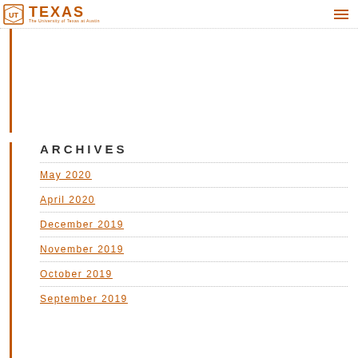The University of Texas at Austin
ARCHIVES
May 2020
April 2020
December 2019
November 2019
October 2019
September 2019